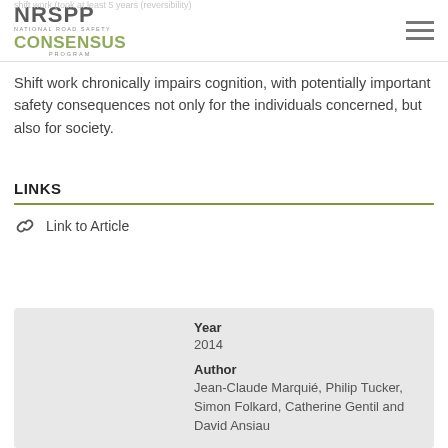NRSPP | NATIONAL ROAD SAFETY PROGRAMME | Consensus Program
Shift work chronically impairs cognition, with potentially important safety consequences not only for the individuals concerned, but also for society.
LINKS
Link to Article
| Field | Value |
| --- | --- |
| Year | 2014 |
| Author | Jean-Claude Marquié, Philip Tucker, Simon Folkard, Catherine Gentil and David Ansiau |